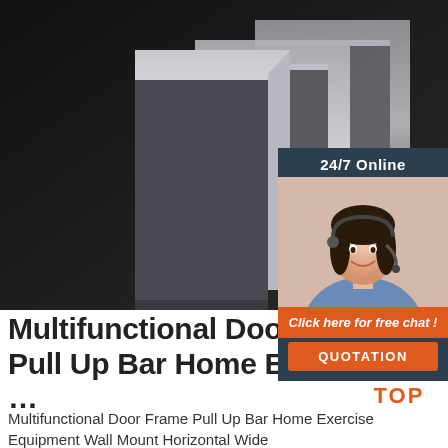[Figure (photo): Photo of stacked metallic angle iron / steel profiles, dark background, showing multiple L-shaped steel beams overlapping each other.]
[Figure (infographic): Customer service chat widget with '24/7 Online' header, photo of a smiling woman with headset, 'Click here for free chat!' text in orange, and an orange 'QUOTATION' button.]
Multifunctional Door Fra… Pull Up Bar Home Exercise …
Multifunctional Door Frame Pull Up Bar Home Exercise Equipment Wall Mount Horizontal Wide